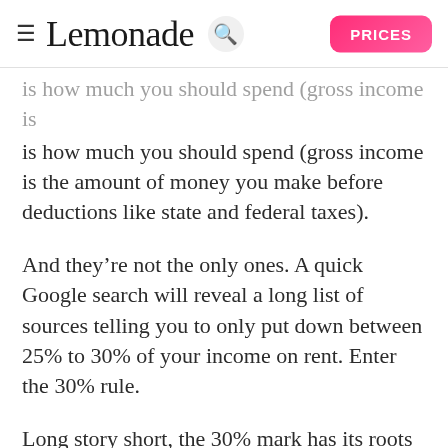Lemonade — PRICES
is how much you should spend (gross income is the amount of money you make before deductions like state and federal taxes).
And they're not the only ones. A quick Google search will reveal a long list of sources telling you to only put down between 25% to 30% of your income on rent. Enter the 30% rule.
Long story short, the 30% mark has its roots in the National Housing Act of 1937. Over the decades, 30% became the yardstick for spending on rent, regardless of economic downturns, changes in purchasing power, or